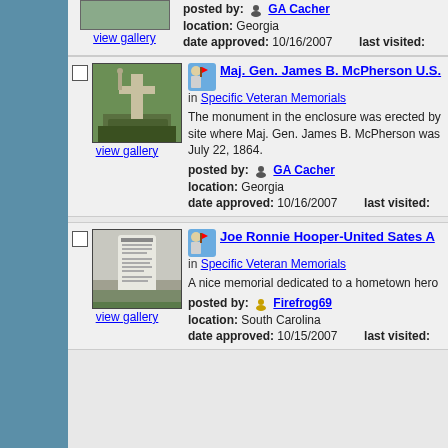view gallery
posted by: GA Cacher
location: Georgia
date approved: 10/16/2007   last visited:
[Figure (photo): Monument with cross in garden enclosure]
view gallery
Maj. Gen. James B. McPherson U.S.
in Specific Veteran Memorials
The monument in the enclosure was erected by site where Maj. Gen. James B. McPherson was July 22, 1864.
posted by: GA Cacher
location: Georgia
date approved: 10/16/2007   last visited:
[Figure (photo): Gravestone memorial marker outdoors]
view gallery
Joe Ronnie Hooper-United Sates A
in Specific Veteran Memorials
A nice memorial dedicated to a hometown hero
posted by: Firefrog69
location: South Carolina
date approved: 10/15/2007   last visited: